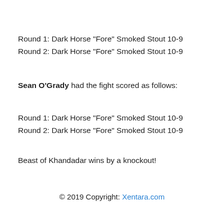Round 1: Dark Horse "Fore" Smoked Stout 10-9
Round 2: Dark Horse "Fore" Smoked Stout 10-9
Sean O'Grady had the fight scored as follows:
Round 1: Dark Horse "Fore" Smoked Stout 10-9
Round 2: Dark Horse "Fore" Smoked Stout 10-9
Beast of Khandadar wins by a knockout!
© 2019 Copyright: Xentara.com